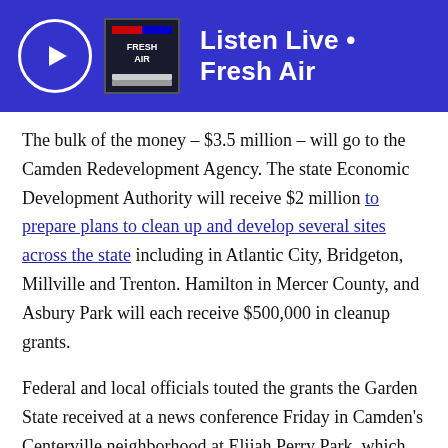Listen Live • Fresh Air
The bulk of the money – $3.5 million – will go to the Camden Redevelopment Agency. The state Economic Development Authority will receive $2 million to prepare plans to clean up and develop several sites across the state including in Atlantic City, Bridgeton, Millville and Trenton. Hamilton in Mercer County, and Asbury Park will each receive $500,000 in cleanup grants.
Federal and local officials touted the grants the Garden State received at a news conference Friday in Camden's Centerville neighborhood at Elijah Perry Park, which will benefit the most. Camden Mayor Vic Carstarphen said the city, with Camden Community Partnerships, will undertake a $3.3 million construction project there.